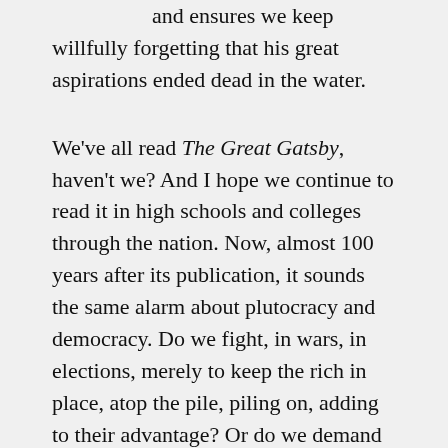and ensures we keep willfully forgetting that his great aspirations ended dead in the water.
We've all read The Great Gatsby, haven't we? And I hope we continue to read it in high schools and colleges through the nation. Now, almost 100 years after its publication, it sounds the same alarm about plutocracy and democracy. Do we fight, in wars, in elections, merely to keep the rich in place, atop the pile, piling on, adding to their advantage? Or do we demand a little room to breathe for fellow citizens (like George Floyd) and ourselves?
The air may be rare up there, where even the toilets are gold plated, but down here on the